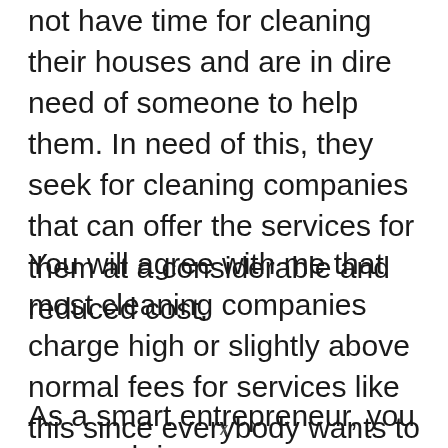not have time for cleaning their houses and are in dire need of someone to help them. In need of this, they seek for cleaning companies that can offer the services for them at a considerable and reduced cost.
You will agree with me that most cleaning companies charge high or slightly above normal fees for services like this since everybody wants to make more money.
As a smart entrepreneur, you can cash in
x